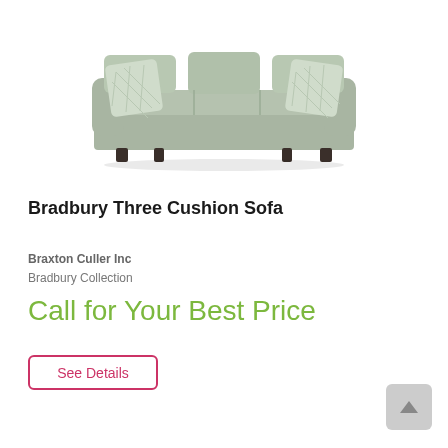[Figure (photo): A light sage/grey three-cushion sofa with decorative patterned throw pillows on each end, rolled arms, and dark wooden feet, shown on a white background.]
Bradbury Three Cushion Sofa
Braxton Culler Inc
Bradbury Collection
Call for Your Best Price
See Details